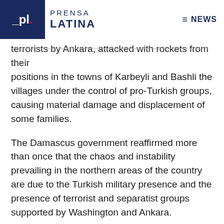[Figure (logo): Prensa Latina logo with dark blue background on left side showing 'PL.' text and 'PRENSA LATINA' text to the right]
≡ NEWS
terrorists by Ankara, attacked with rockets from their positions in the towns of Karbeyli and Bashli the villages under the control of pro-Turkish groups, causing material damage and displacement of some families.
The Damascus government reaffirmed more than once that the chaos and instability prevailing in the northern areas of the country are due to the Turkish military presence and the presence of terrorist and separatist groups supported by Washington and Ankara.
ef/abo/mem/fm